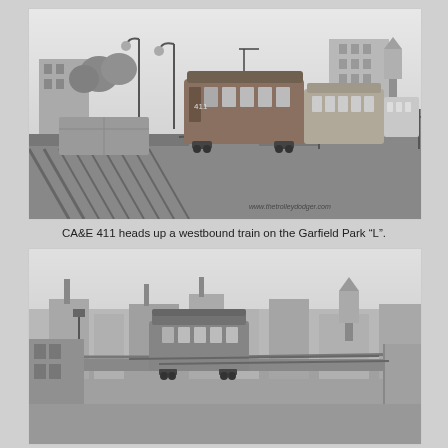[Figure (photo): Black and white photograph of CA&E 411 electric railway car heading up a westbound train on the Garfield Park 'L' elevated railway. The train is shown on elevated tracks with urban scenery including buildings and street lights visible. A watermark reads www.thetrolleydodger.com in the lower right corner.]
CA&E 411 heads up a westbound train on the Garfield Park “L”.
[Figure (photo): Black and white photograph showing a partial view of an electric railway/streetcar scene with urban industrial background including buildings, a water tower, and elevated railway infrastructure. The image is partially cropped at the bottom of the page.]